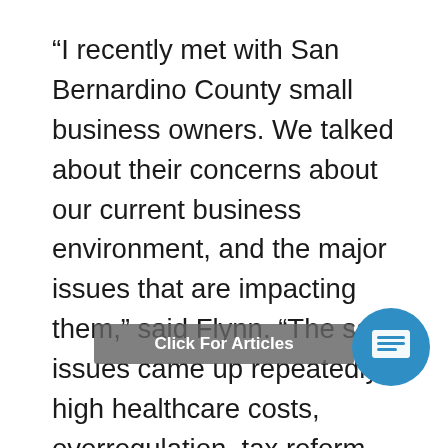“I recently met with San Bernardino County small business owners. We talked about their concerns about our current business environment, and the major issues that are impacting them,” said Flynn. “The same issues came up repeatedly: high healthcare costs, overregulation, tax reform, high workers compensation rates, and burdensome, confusing labor laws that add cost and hurt productivity.”
Business leaders joining the discussion included: Denny Shorett owner of [direct], year old printing company in San Bernardino, Fontana’s California Recyclers owner Cristina